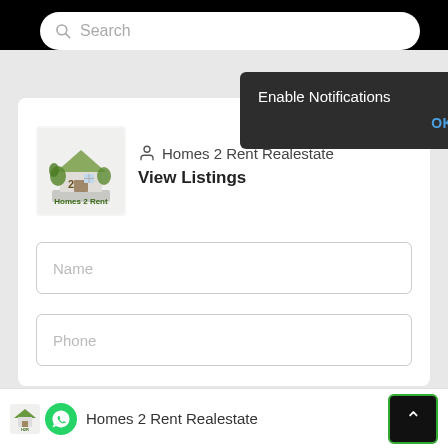[Figure (screenshot): Search bar with magnifying glass icon and placeholder text 'Search']
[Figure (screenshot): Browser notification popup with dark background showing 'Enable Notifications' title and OK / No thanks buttons]
[Figure (logo): Homes 2 Rent company logo — illustrated house with plants and text 'Homes 2 Rent']
Homes 2 Rent Realestate
View Listings
Name
Phone
Email
[Figure (logo): Small Homes 2 Rent logo and WhatsApp icon in bottom footer bar]
Homes 2 Rent Realestate